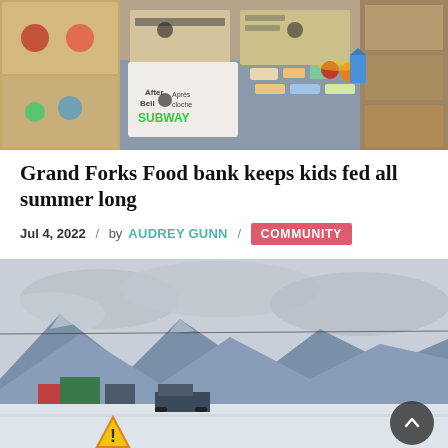[Figure (photo): Food bank boxes and snack items displayed on a table, with After Bell / Après cloche branding and a Subway bag]
Grand Forks Food bank keeps kids fed all summer long
Jul 4, 2022  /  by AUDREY GUNN  /  COMMUNITY
[Figure (photo): Outdoor winter scene showing a flat area with mountains in the background under cloudy sky, with a warning sign and a back-to-top button overlay]